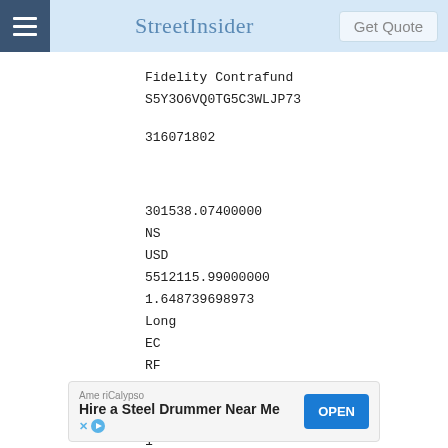StreetInsider
Fidelity Contrafund
S5Y3O6VQ0TG5C3WLJP73
316071802
301538.07400000
NS
USD
5512115.99000000
1.648739698973
Long
EC
RF
US
N
1
[Figure (other): Advertisement banner: AmeriCalypso - Hire a Steel Drummer Near Me, with OPEN button]